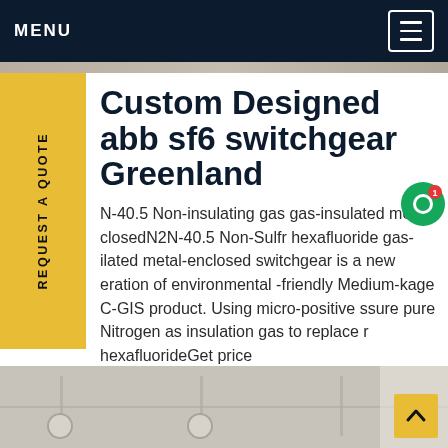MENU
[Figure (screenshot): Top image strip at top of page, partially visible]
Custom Designed abb sf6 switchgear Greenland
N-40.5 Non-insulating gas gas-insulated metal-closedN2N-40.5 Non-Sulfr hexafluoride gas-ilated metal-enclosed switchgear is a new eration of environmental -friendly Medium-kage C-GIS product. Using micro-positive ssure pure Nitrogen as insulation gas to replace r hexafluorideGet price
[Figure (photo): Bottom portion of industrial switchgear equipment photo, partially visible]